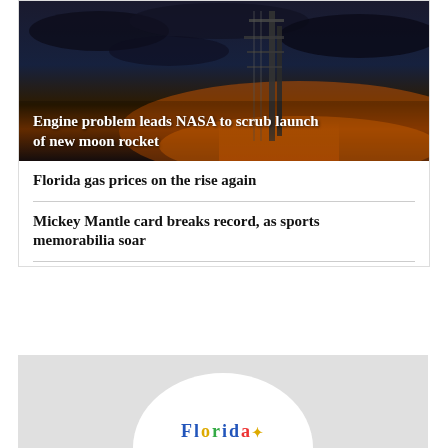[Figure (photo): Dark stormy sky with rocket launch tower silhouette at sunset/dusk, orange glow on horizon]
Engine problem leads NASA to scrub launch of new moon rocket
Florida gas prices on the rise again
Mickey Mantle card breaks record, as sports memorabilia soar
[Figure (logo): Florida logo with colorful letters on white circle, light gray background panel]